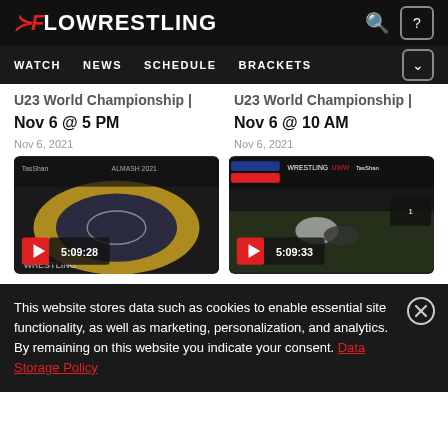FLOWRESTLING — WATCH | NEWS | SCHEDULE | BRACKETS
U23 World Championship | Nov 6 @ 5 PM
Nov 6, 2021
U23 World Championship | Nov 6 @ 10 AM
Nov 6, 2021
[Figure (screenshot): Video thumbnail of wrestling mat with yellow circle, play button and duration 5:09:28]
[Figure (screenshot): Video thumbnail of wrestling match in progress, play button and duration 5:09:33]
This website stores data such as cookies to enable essential site functionality, as well as marketing, personalization, and analytics. By remaining on this website you indicate your consent. Data Storage Policy